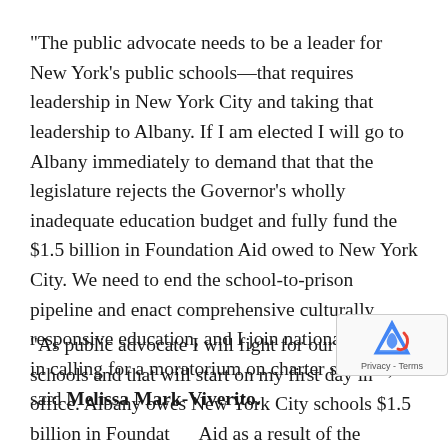“The public advocate needs to be a leader for New York’s public schools—that requires leadership in New York City and taking that leadership to Albany. If I am elected I will go to Albany immediately to demand that that the legislature rejects the Governor’s wholly inadequate education budget and fully fund the $1.5 billion in Foundation Aid owed to New York City. We need to end the school-to-prison pipeline and enact comprehensive culturally responsive education, and I join national NAACP in calling for a moratorium on charter schools,” said Melissa Mark-Viverito.
“As public advocate I will fight for our public schools and that will start on my first day in office. Albany owes New York City schools $1.5 billion in Foundation Aid as a result of the Campaign for Fiscal Equity, b[ut Governor Cuomo refuses to acknowledge that child…]